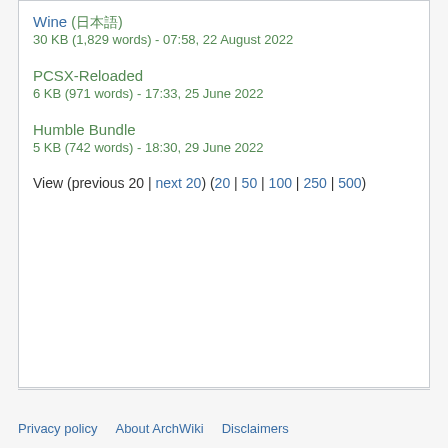Wine (日本語) - 30 KB (1,829 words) - 07:58, 22 August 2022
PCSX-Reloaded - 6 KB (971 words) - 17:33, 25 June 2022
Humble Bundle - 5 KB (742 words) - 18:30, 29 June 2022
View (previous 20 | next 20) (20 | 50 | 100 | 250 | 500)
Privacy policy   About ArchWiki   Disclaimers